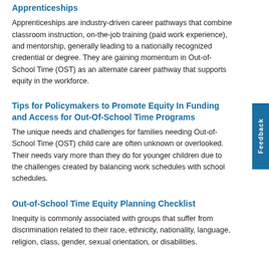Apprenticeships
Apprenticeships are industry-driven career pathways that combine classroom instruction, on-the-job training (paid work experience), and mentorship, generally leading to a nationally recognized credential or degree. They are gaining momentum in Out-of-School Time (OST) as an alternate career pathway that supports equity in the workforce.
Tips for Policymakers to Promote Equity In Funding and Access for Out-Of-School Time Programs
The unique needs and challenges for families needing Out-of-School Time (OST) child care are often unknown or overlooked. Their needs vary more than they do for younger children due to the challenges created by balancing work schedules with school schedules.
Out-of-School Time Equity Planning Checklist
Inequity is commonly associated with groups that suffer from discrimination related to their race, ethnicity, nationality, language, religion, class, gender, sexual orientation, or disabilities.